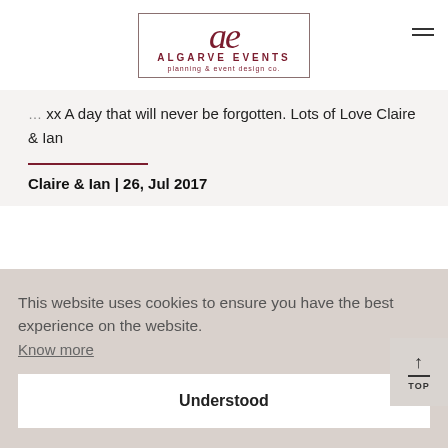[Figure (logo): Algarve Events logo with stylized 'ae' monogram in dark red, bordered rectangle, text 'ALGARVE EVENTS' and tagline 'planning & event design co.']
xx A day that will never be forgotten. Lots of Love Claire & Ian
Claire & Ian | 26, Jul 2017
This website uses cookies to ensure you have the best experience on the website. Know more
Understood